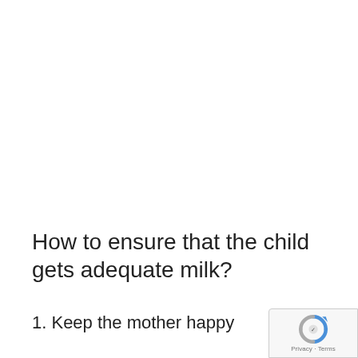How to ensure that the child gets adequate milk?
1. Keep the mother happy
[Figure (logo): reCAPTCHA logo badge with Privacy and Terms text]